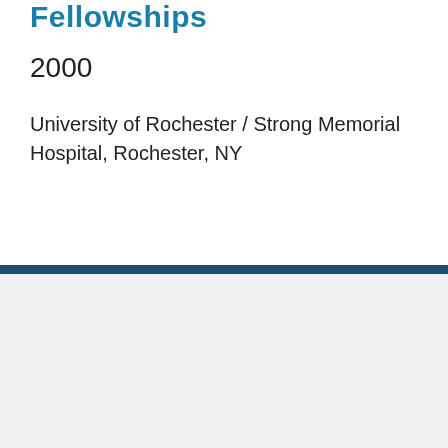Fellowships
2000
University of Rochester / Strong Memorial Hospital, Rochester, NY
[Figure (logo): Mayo Clinic Care Network Member logo with shield emblem]
VHC Health
1701 N. George Mason Drive
Arlington, VA 22205
703.558.5000